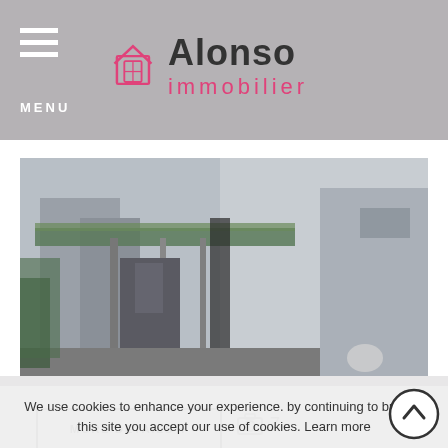MENU | Alonso immobilier
[Figure (photo): Exterior photo of a property showing building facade with metal structure/awning and surroundings]
MORE DETAILS +
7
We use cookies to enhance your experience. by continuing to browse this site you accept our use of cookies. Learn more